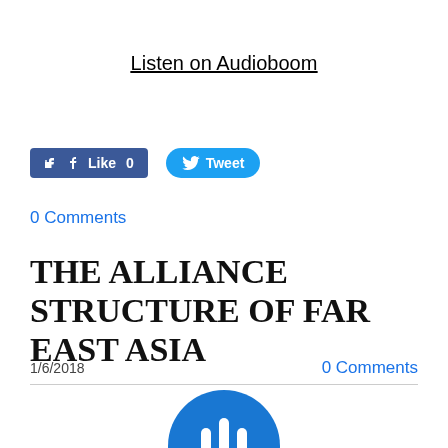Listen on Audioboom
[Figure (screenshot): Facebook Like button showing 0 likes and Twitter Tweet button]
0 Comments
THE ALLIANCE STRUCTURE OF FAR EAST ASIA
1/6/2018
0 Comments
[Figure (logo): Audioboom circular logo with sound wave bars icon in blue]